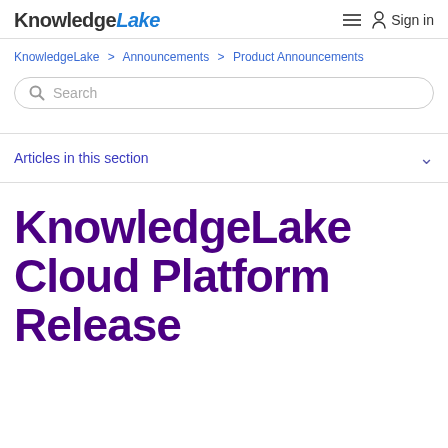KnowledgeLake  Sign in
KnowledgeLake > Announcements > Product Announcements
Search
Articles in this section
KnowledgeLake Cloud Platform Release